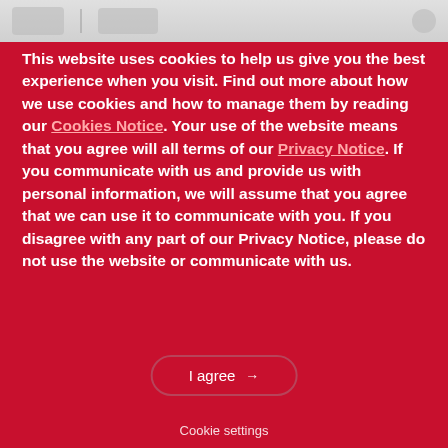[Figure (screenshot): Partially visible website navigation bar at the top of the page, showing logo placeholders and a navigation arrow on a light grey background]
This website uses cookies to help us give you the best experience when you visit. Find out more about how we use cookies and how to manage them by reading our Cookies Notice. Your use of the website means that you agree will all terms of our Privacy Notice. If you communicate with us and provide us with personal information, we will assume that you agree that we can use it to communicate with you. If you disagree with any part of our Privacy Notice, please do not use the website or communicate with us.
I agree →
Cookie settings